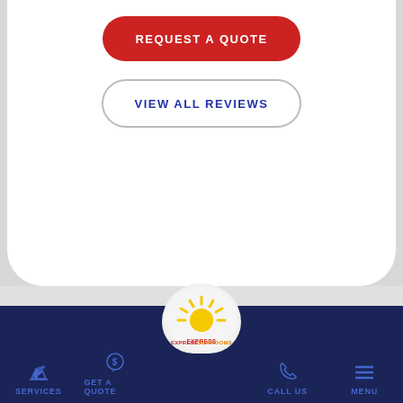[Figure (other): Red rounded button labeled REQUEST A QUOTE]
[Figure (other): Outlined rounded button labeled VIEW ALL REVIEWS]
[Figure (other): HomeAdvisor Top Rated badge shield with orange stars]
[Figure (other): BBB Accredited Business badge with A+ rating]
[Figure (logo): Express Sunrooms logo in center nav bump]
SERVICES
GET A QUOTE
CALL US
MENU